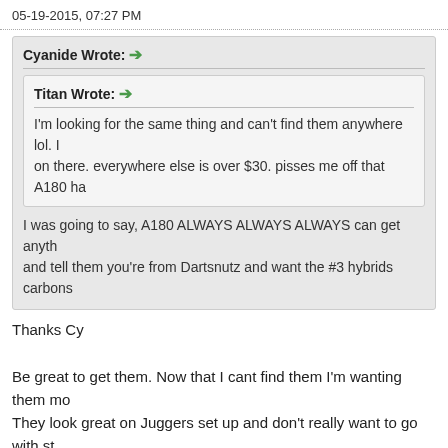05-19-2015, 07:27 PM
Cyanide Wrote: → (quote block containing Titan Wrote: → I'm looking for the same thing and can't find them anywhere lol. I on there. everywhere else is over $30. pisses me off that A180 ha) | I was going to say, A180 ALWAYS ALWAYS ALWAYS can get anyth and tell them you're from Dartsnutz and want the #3 hybrids carbons
Thanks Cy

Be great to get them. Now that I cant find them I'm wanting them mo They look great on Juggers set up and don't really want to go with st
Guests cannot see images in the messages.